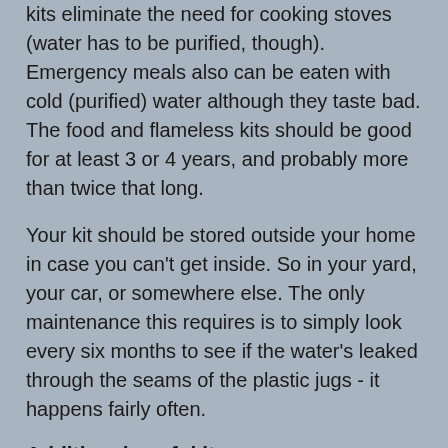kits eliminate the need for cooking stoves (water has to be purified, though). Emergency meals also can be eaten with cold (purified) water although they taste bad. The food and flameless kits should be good for at least 3 or 4 years, and probably more than twice that long.
Your kit should be stored outside your home in case you can't get inside. So in your yard, your car, or somewhere else. The only maintenance this requires is to simply look every six months to see if the water's leaked through the seams of the plastic jugs - it happens fairly often.
Additional useful items:
Cheap flashlight/headlamp
Spare batteries in clear plastic bag so you can see if they've become corroded over time
Plastic tarp and cord as a rain shelter
Swiss Army knife
Emergency shelter, 1 per 2 people
Cheap or expensive first aid kit (I went with cheap